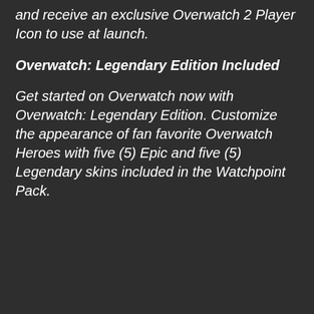and receive an exclusive Overwatch 2 Player Icon to use at launch.
Overwatch: Legendary Edition Included
Get started on Overwatch now with Overwatch: Legendary Edition. Customize the appearance of fan favorite Overwatch Heroes with five (5) Epic and five (5) Legendary skins included in the Watchpoint Pack.